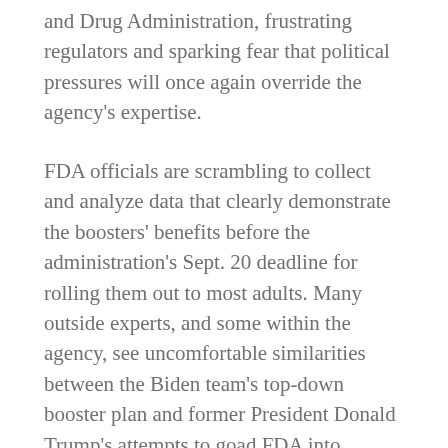and Drug Administration, frustrating regulators and sparking fear that political pressures will once again override the agency's expertise.
FDA officials are scrambling to collect and analyze data that clearly demonstrate the boosters' benefits before the administration's Sept. 20 deadline for rolling them out to most adults. Many outside experts, and some within the agency, see uncomfortable similarities between the Biden team's top-down booster plan and former President Donald Trump's attempts to goad FDA into accelerating its initial authorization process for Covid-19 vaccines and push through unproven virus treatments.
On Tuesday, two top FDA vaccine regulators resigned — a decision that one former official